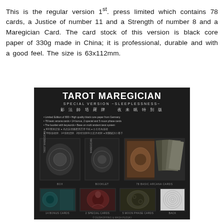This is the regular version 1st. press limited which contains 78 cards, a Justice of number 11 and a Strength of number 8 and a Maregician Card. The card stock of this version is black core paper of 330g made in China; it is professional, durable and with a good feel. The size is 63x112mm.
[Figure (photo): Product image for Tarot Maregician Special Version Sleeplessness showing box, booklet, 78 basic arcana cards, 14 bonus cards, 2 special cards, 5 moon phase cards, and back card.]